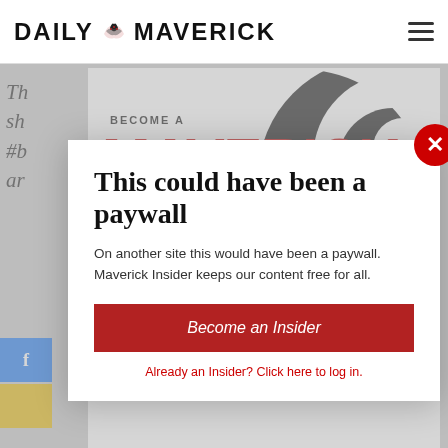DAILY MAVERICK
[Figure (logo): Maverick Insider promotional banner with red bold text BECOME A MAVERICK INSIDER and a black swirl graphic on the right]
This could have been a paywall
On another site this would have been a paywall. Maverick Insider keeps our content free for all.
Become an Insider
Already an Insider? Click here to log in.